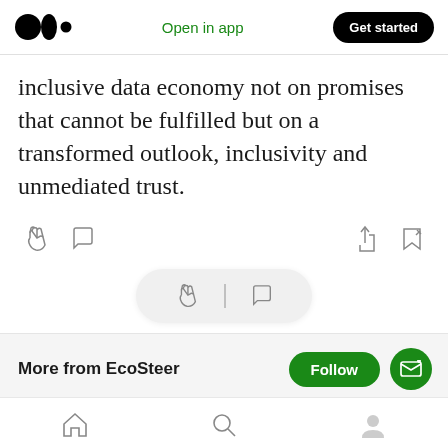Medium app header with logo, Open in app, Get started button
inclusive data economy not on promises that cannot be fulfilled but on a transformed outlook, inclusivity and unmediated trust.
[Figure (screenshot): Action toolbar with clap icon, comment icon on the left, and share/bookmark icons on the right]
[Figure (screenshot): Floating pill with clap and comment icons]
More from EcoSteer
Bottom navigation bar with home, search, and profile icons